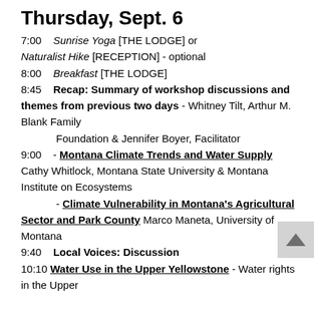Thursday, Sept. 6
7:00    Sunrise Yoga [THE LODGE] or Naturalist Hike [RECEPTION] - optional
8:00    Breakfast [THE LODGE]
8:45    Recap: Summary of workshop discussions and themes from previous two days - Whitney Tilt, Arthur M. Blank Family Foundation & Jennifer Boyer, Facilitator
9:00    - Montana Climate Trends and Water Supply Cathy Whitlock, Montana State University & Montana Institute on Ecosystems
            - Climate Vulnerability in Montana's Agricultural Sector and Park County Marco Maneta, University of Montana
9:40    Local Voices: Discussion
10:10  Water Use in the Upper Yellowstone - Water rights in the Upper